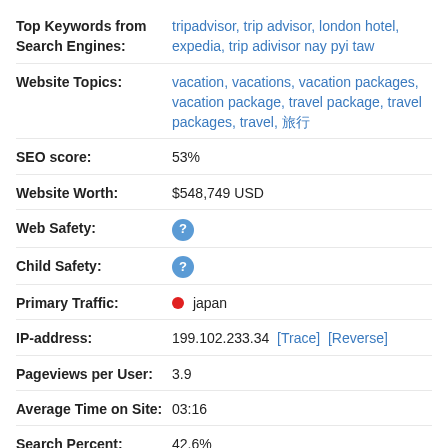Top Keywords from Search Engines: tripadvisor, trip advisor, london hotel, expedia, trip adivisor nay pyi taw
Website Topics: vacation, vacations, vacation packages, vacation package, travel package, travel packages, travel, 旅行
SEO score: 53%
Website Worth: $548,749 USD
Web Safety: ?
Child Safety: ?
Primary Traffic: japan
IP-address: 199.102.233.34 [Trace] [Reverse]
Pageviews per User: 3.9
Average Time on Site: 03:16
Search Percent: 42.6%